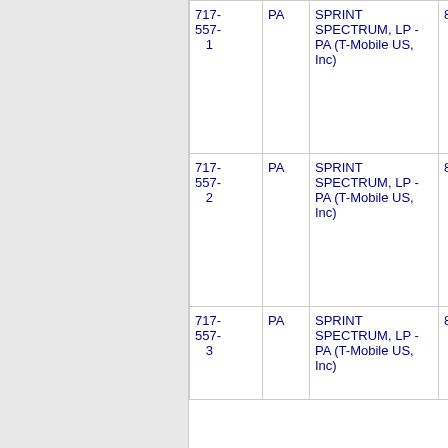| Code | State | Name | Extra |
| --- | --- | --- | --- |
| 717-557-1 | PA | SPRINT SPECTRUM, LP - PA (T-Mobile US, Inc) | 8 |
| 717-557-2 | PA | SPRINT SPECTRUM, LP - PA (T-Mobile US, Inc) | 8 |
| 717-557-3 | PA | SPRINT SPECTRUM, LP - PA (T-Mobile US, Inc) | 8 |